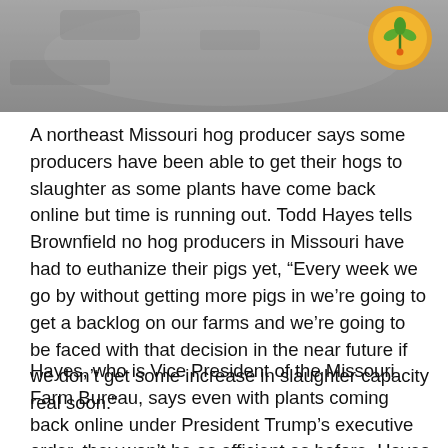[Figure (photo): Grayscale photo (top portion visible) with an orange and green circular logo/icon in the upper right corner]
A northeast Missouri hog producer says some producers have been able to get their hogs to slaughter as some plants have come back online but time is running out. Todd Hayes tells Brownfield no hog producers in Missouri have had to euthanize their pigs yet, “Every week we go by without getting more pigs in we’re going to get a backlog on our farms and we’re going to be faced with that decision in the near future if we don’t get some increase in slaughter capacity real soon.”
Hayes, who is Vice President of the Missouri Farm Bureau, says even with plants coming back online under President Trump’s executive order, they won’t be as efficient as before. Hayes says they’re